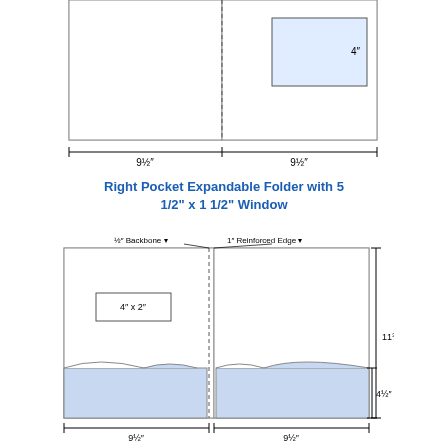[Figure (engineering-diagram): Top partial engineering diagram of a folder showing two panels with a '4' dimension label on the right side and '9½' and '9½' width dimension labels at the bottom]
Right Pocket Expandable Folder with 5 1/2" x 1 1/2" Window
[Figure (engineering-diagram): Engineering diagram of a Right Pocket Expandable Folder with dimensions: 11¾" height, 9½" left panel width, 9½" right panel width, 4½" pocket height, ½" Backbone, 1" Reinforced Edge, and a 4 x 2 card slot on the left panel]